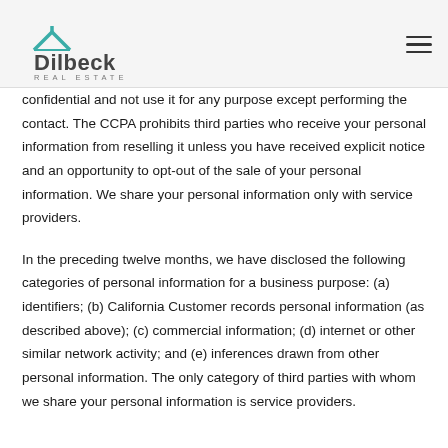Dilbeck Real Estate
confidential and not use it for any purpose except performing the contact. The CCPA prohibits third parties who receive your personal information from reselling it unless you have received explicit notice and an opportunity to opt-out of the sale of your personal information. We share your personal information only with service providers.
In the preceding twelve months, we have disclosed the following categories of personal information for a business purpose: (a) identifiers; (b) California Customer records personal information (as described above); (c) commercial information; (d) internet or other similar network activity; and (e) inferences drawn from other personal information. The only category of third parties with whom we share your personal information is service providers.